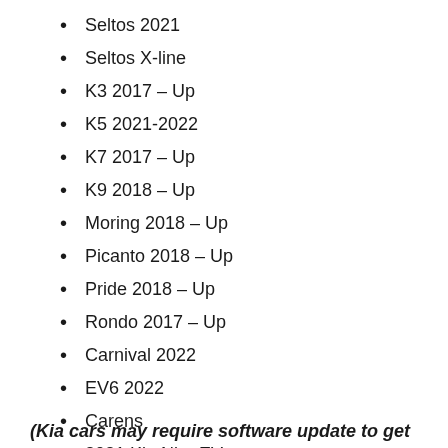Seltos 2021
Seltos X-line
K3 2017 – Up
K5 2021-2022
K7 2017 – Up
K9 2018 – Up
Moring 2018 – Up
Picanto 2018 – Up
Pride 2018 – Up
Rondo 2017 – Up
Carnival 2022
EV6 2022
Carens
2021 Kia Niro EV
(Kia cars may require software update to get